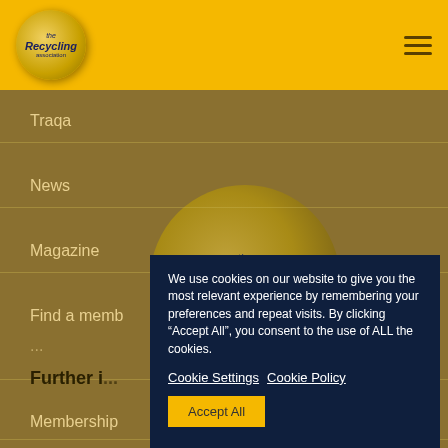[Figure (logo): The Recycling Association circular logo on yellow header bar with hamburger menu icon]
Traqa
News
Magazine
Find a memb...
Further i...
Membership
We use cookies on our website to give you the most relevant experience by remembering your preferences and repeat visits. By clicking “Accept All”, you consent to the use of ALL the cookies.
Cookie Settings  Cookie Policy
Accept All